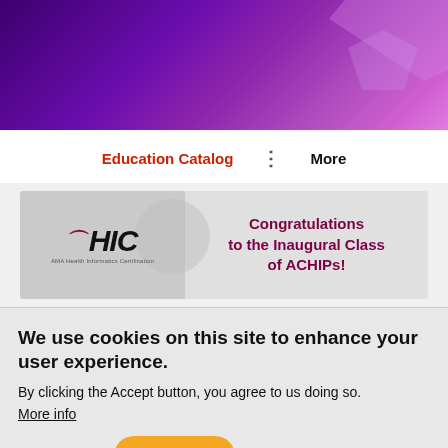[Figure (illustration): Purple gradient header banner with geometric shapes in top-right corner]
Education Catalog   ⋮   More
[Figure (logo): AHIC (AMA Health Informatics Certification) logo with text 'Congratulations to the Inaugural Class of ACHIPs!']
We use cookies on this site to enhance your user experience.
By clicking the Accept button, you agree to us doing so.
More info
No, thanks
Accept